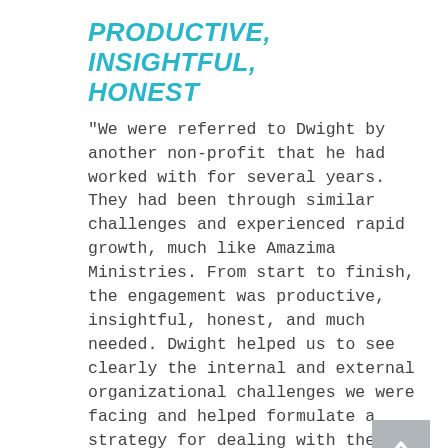PRODUCTIVE, INSIGHTFUL, HONEST
"We were referred to Dwight by another non-profit that he had worked with for several years. They had been through similar challenges and experienced rapid growth, much like Amazima Ministries. From start to finish, the engagement was productive, insightful, honest, and much needed. Dwight helped us to see clearly the internal and external organizational challenges we were facing and helped formulate a strategy for dealing with these challenges. It was as if he already knew in advance many of the hurdles we had in